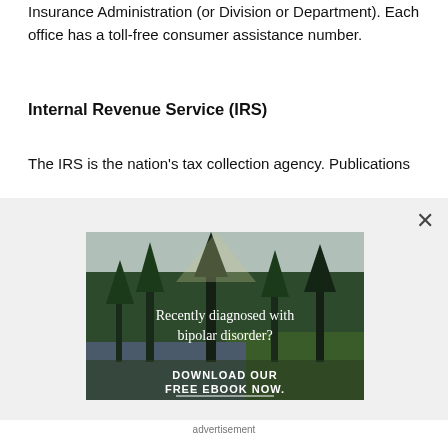Insurance Administration (or Division or Department). Each office has a toll-free consumer assistance number.
Internal Revenue Service (IRS)
The IRS is the nation's tax collection agency. Publications
[Figure (photo): Advertisement overlay featuring a forest and river landscape with text 'Recently diagnosed with bipolar disorder? DOWNLOAD OUR FREE EBOOK NOW.' and a close button (×).]
advertisement